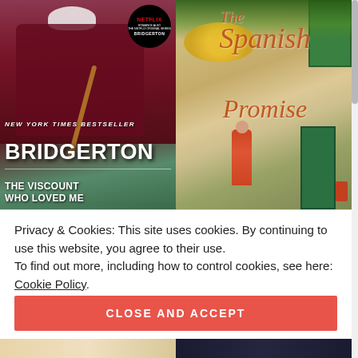[Figure (photo): Two book covers side by side. Left: 'Bridgerton: The Viscount Who Loved Me' by Julia Quinn, a New York Times Bestseller with Netflix badge, showing a Regency-era man in dark coat. Right: 'The Spanish Promise' showing a woman in red dress walking down a sunlit Spanish street.]
Privacy & Cookies: This site uses cookies. By continuing to use this website, you agree to their use.
To find out more, including how to control cookies, see here: Cookie Policy
CLOSE AND ACCEPT